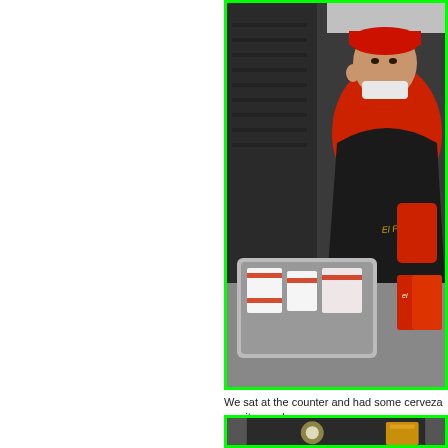[Figure (photo): A person wearing a red shirt and black apron with 'El Farolito' text, and a red cap, with a face mask pulled down, working at a food counter. In the foreground is a metal tray/container filled with wrapped food items with red branding. Red branded boxes visible on the right side.]
We sat at the counter and had some cerveza a quite good.,
[Figure (photo): A dark nighttime or indoor scene with a bright light source (bokeh) and what appears to be a golden/yellow object on the right side.]